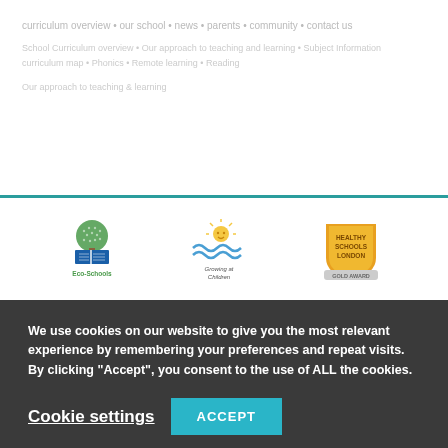faint/partially visible text lines in upper section (website navigation/content area)
[Figure (logo): Eco-Schools logo: green tree with open book, text 'Eco-Schools' below]
[Figure (logo): Growing at Children logo: sun and waves with text 'Growing at Children']
[Figure (logo): Healthy Schools London gold award badge shield in gold/yellow]
We use cookies on our website to give you the most relevant experience by remembering your preferences and repeat visits. By clicking “Accept”, you consent to the use of ALL the cookies.
Cookie settings
ACCEPT